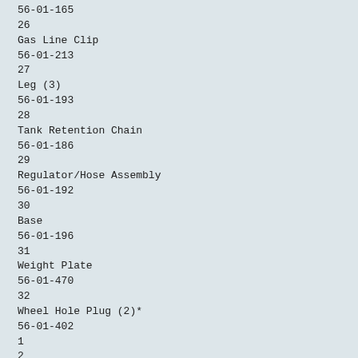56-01-165
26
Gas Line Clip
56-01-213
27
Leg (3)
56-01-193
28
Tank Retention Chain
56-01-186
29
Regulator/Hose Assembly
56-01-192
30
Base
56-01-196
31
Weight Plate
56-01-470
32
Wheel Hole Plug (2)*
56-01-402
1
2
3
5
4
6
7
8
9
10
11